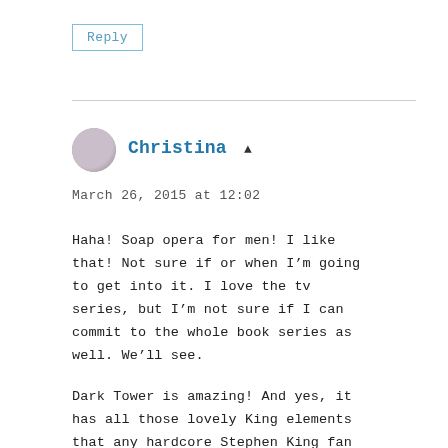Reply
Christina
March 26, 2015 at 12:02
Haha! Soap opera for men! I like that! Not sure if or when I'm going to get into it. I love the tv series, but I'm not sure if I can commit to the whole book series as well. We'll see.
Dark Tower is amazing! And yes, it has all those lovely King elements that any hardcore Stephen King fan